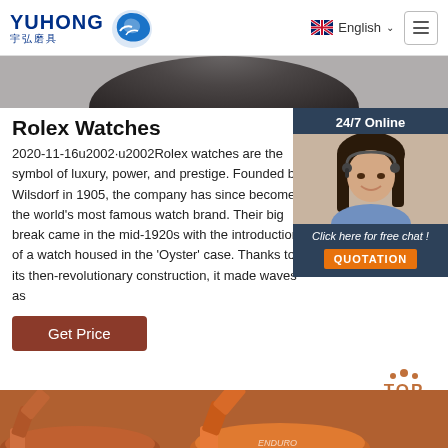YUHONG 宇弘磨具 — English — Menu
[Figure (photo): Partial dark circular disc/wheel product image at top of page]
Rolex Watches
2020-11-16u2002·u2002Rolex watches are the symbol of luxury, power, and prestige. Founded by Wilsdorf in 1905, the company has since become the world's most famous watch brand. Their big break came in the mid-1920s with the introduction of a watch housed in the 'Oyster' case. Thanks to its then-revolutionary construction, it made waves as
[Figure (photo): Customer service representative (woman with headset) — 24/7 Online chat widget with QUOTATION button]
Get Price
[Figure (photo): TOP scroll-to-top button with orange dots above text]
[Figure (photo): Abrasive flap disc product images at bottom of page]